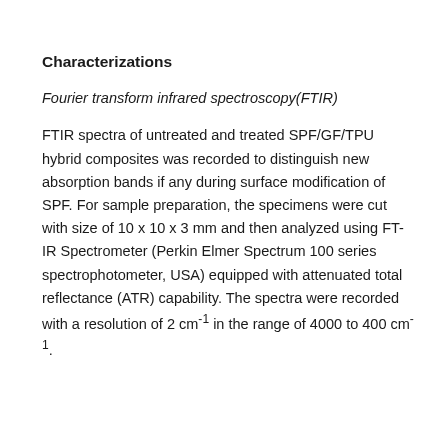Characterizations
Fourier transform infrared spectroscopy(FTIR)
FTIR spectra of untreated and treated SPF/GF/TPU hybrid composites was recorded to distinguish new absorption bands if any during surface modification of SPF. For sample preparation, the specimens were cut with size of 10 x 10 x 3 mm and then analyzed using FT-IR Spectrometer (Perkin Elmer Spectrum 100 series spectrophotometer, USA) equipped with attenuated total reflectance (ATR) capability. The spectra were recorded with a resolution of 2 cm⁻¹ in the range of 4000 to 400 cm⁻¹.